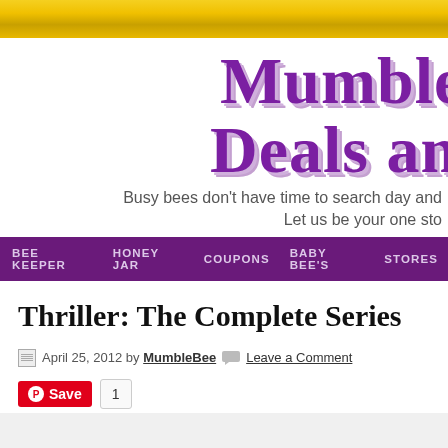[Figure (logo): MumbleBee Deals and ... website logo with decorative serif purple text and tagline]
BEE KEEPER   HONEY JAR   COUPONS   BABY BEE'S   STORES
Thriller: The Complete Series
April 25, 2012 by MumbleBee   Leave a Comment
Save  1